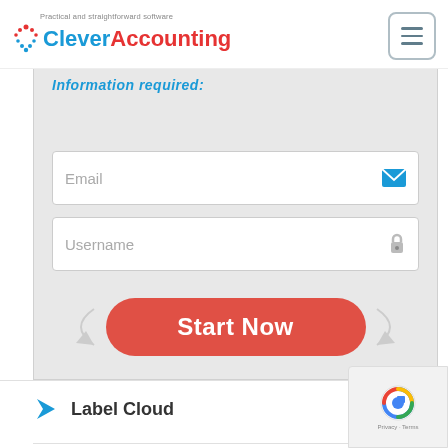[Figure (logo): Clever Accounting logo with tagline 'Practical and straightforward software']
[Figure (other): Hamburger menu button (three horizontal lines) in rounded rectangle border]
Information required:
[Figure (screenshot): Email input field with email icon on the right]
[Figure (screenshot): Username input field with lock icon on the right]
[Figure (other): Start Now button in red/coral rounded pill shape with curved arrows on each side]
Label Cloud
Accounting Lessons
[Figure (other): reCAPTCHA badge with Google logo, Privacy and Terms text]